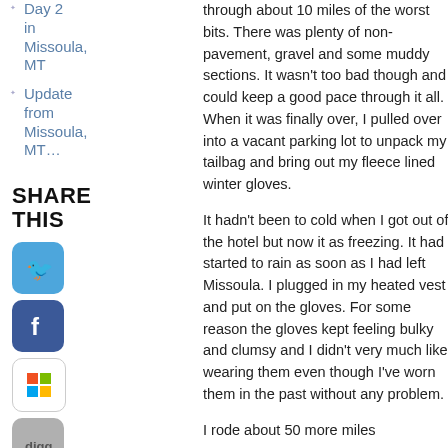Day 2 in Missoula, MT
Update from Missoula, MT…
SHARE THIS
[Figure (logo): Twitter social share icon - blue rounded square with bird logo]
[Figure (logo): Facebook social share icon - dark blue rounded square with f logo]
[Figure (logo): Windows/ShareThis icon - white rounded square with colored squares]
[Figure (logo): Digg social share icon - grey rounded square with digg logo]
[Figure (logo): Reddit social share icon - light grey rounded square with alien logo]
through about 10 miles of the worst bits. There was plenty of non-pavement, gravel and some muddy sections. It wasn't too bad though and could keep a good pace through it all. When it was finally over, I pulled over into a vacant parking lot to unpack my tailbag and bring out my fleece lined winter gloves.
It hadn't been to cold when I got out of the hotel but now it as freezing. It had started to rain as soon as I had left Missoula. I plugged in my heated vest and put on the gloves. For some reason the gloves kept feeling bulky and clumsy and I didn't very much like wearing them even though I've worn them in the past without any problem.
I rode about 50 more miles
humor leathers Lebanon Ljubljana long way round Long Weekend maintenance Memorial Day Ride Michigan Missoula Montana Motorcycling Movies movie reviews New Hampshire New Zealand Oregon